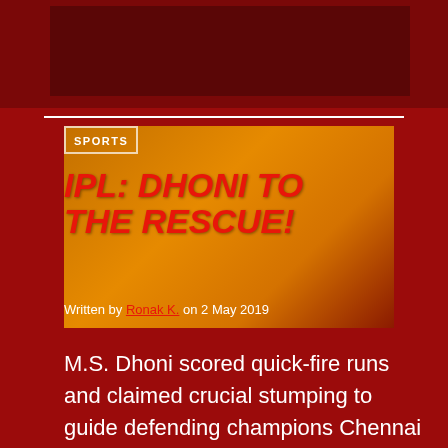[Figure (photo): Dark red background with a faded/muted cricket photo showing a batsman in yellow CSK kit playing a shot, and an opposing player in orange SRH kit]
SPORTS
IPL: DHONI TO THE RESCUE!
Written by Ronak K. on 2 May 2019
M.S. Dhoni scored quick-fire runs and claimed crucial stumping to guide defending champions Chennai Super Kings to victory in their top of the table IPL clash